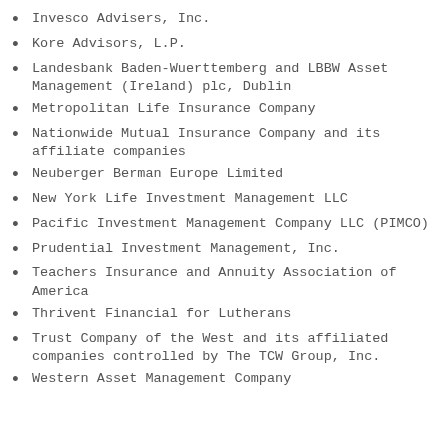Invesco Advisers, Inc.
Kore Advisors, L.P.
Landesbank Baden-Wuerttemberg and LBBW Asset Management (Ireland) plc, Dublin
Metropolitan Life Insurance Company
Nationwide Mutual Insurance Company and its affiliate companies
Neuberger Berman Europe Limited
New York Life Investment Management LLC
Pacific Investment Management Company LLC (PIMCO)
Prudential Investment Management, Inc.
Teachers Insurance and Annuity Association of America
Thrivent Financial for Lutherans
Trust Company of the West and its affiliated companies controlled by The TCW Group, Inc.
Western Asset Management Company